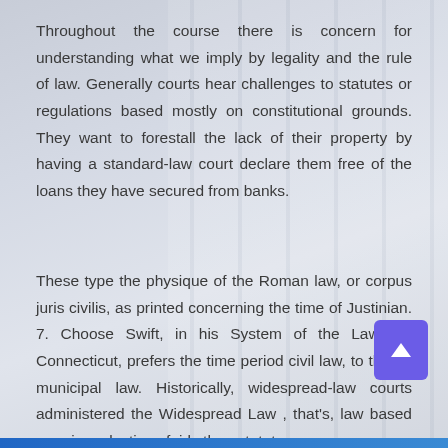Throughout the course there is concern for understanding what we imply by legality and the rule of law. Generally courts hear challenges to statutes or regulations based mostly on constitutional grounds. They want to forestall the lack of their property by having a standard-law court declare them free of the loans they have secured from banks.
These type the physique of the Roman law, or corpus juris civilis, as printed concerning the time of Justinian. 7. Choose Swift, in his System of the Laws of Connecticut, prefers the time period civil law, to that of municipal law. Historically, widespread-law courts administered the Widespread Law , that's, law based on prior selections fairly than statutes.